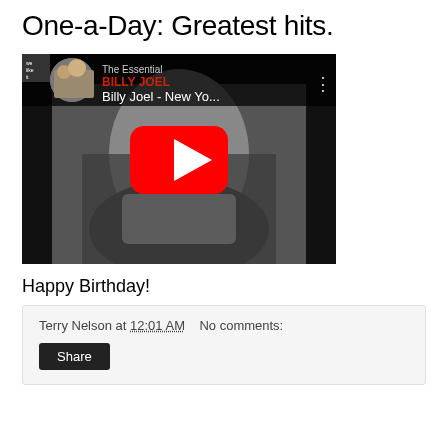One-a-Day: Greatest hits.
[Figure (screenshot): YouTube video thumbnail showing Billy Joel - New Yo... with a man in black and white photo, red YouTube play button overlay, and album art in top left corner reading 'The Essential Billy Joel']
Happy Birthday!
Terry Nelson at 12:01 AM   No comments:   Share